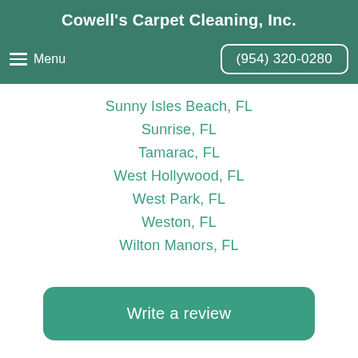Cowell's Carpet Cleaning, Inc.
Menu  |  (954) 320-0280
Sunny Isles Beach, FL
Sunrise, FL
Tamarac, FL
West Hollywood, FL
West Park, FL
Weston, FL
Wilton Manors, FL
Write a review